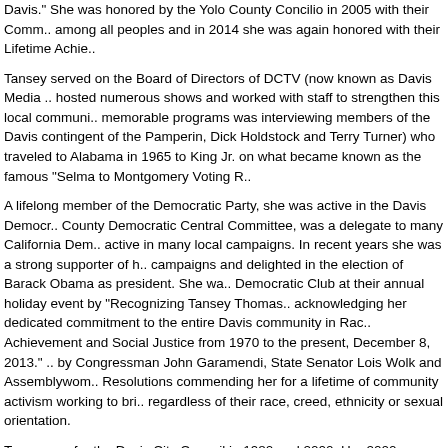Davis." She was honored by the Yolo County Concilio in 2005 with their Comm... among all peoples and in 2014 she was again honored with their Lifetime Achie...
Tansey served on the Board of Directors of DCTV (now known as Davis Media ... hosted numerous shows and worked with staff to strengthen this local communi... memorable programs was interviewing members of the Davis contingent of the ... Pamperin, Dick Holdstock and Terry Turner) who traveled to Alabama in 1965 to... King Jr. on what became known as the famous "Selma to Montgomery Voting R...
A lifelong member of the Democratic Party, she was active in the Davis Democr... County Democratic Central Committee, was a delegate to many California Dem... active in many local campaigns. In recent years she was a strong supporter of h... campaigns and delighted in the election of Barack Obama as president. She wa... Democratic Club at their annual holiday event by "Recognizing Tansey Thomas... acknowledging her dedicated commitment to the entire Davis community in Rac... Achievement and Social Justice from 1970 to the present, December 8, 2013."... by Congressman John Garamendi, State Senator Lois Wolk and Assemblywom... Resolutions commending her for a lifetime of community activism working to bri... regardless of their race, creed, ethnicity or sexual orientation.
Tansey ran for the Davis City Council in 1980 and 2000. Her 2000 campaign ca... community support and a lifetime of Davis friends to help, and endorsements fr... Ken Wagstaff she was nearly elected and placed runner up, losing a council sea... theme was: "Tansey Thomas! for Davis City Council 'Let's Make a Difference.'"
Tansey Thomas died peacefully in her home in Davis on October 19, 2017.
Source:
Adopted from obituary in The Davis Enterprise, October 29, 2017, written by i...